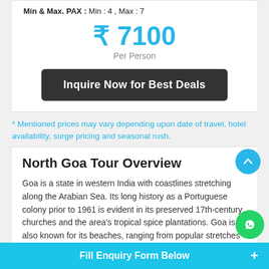Min & Max. PAX : Min : 4 , Max : 7
₹ 7100
Per Person
Inquire Now for Best Deals
* Mentioned prices may vary depending upon date of travel, hotel availability, surge pricing and seasonal rush.
North Goa Tour Overview
Goa is a state in western India with coastlines stretching along the Arabian Sea. Its long history as a Portuguese colony prior to 1961 is evident in its preserved 17th-century churches and the area's tropical spice plantations. Goa is also known for its beaches, ranging from popular stretches at Baga, Palolem to those in laid-back fishing villages such as
Fill Enquiry Form Below